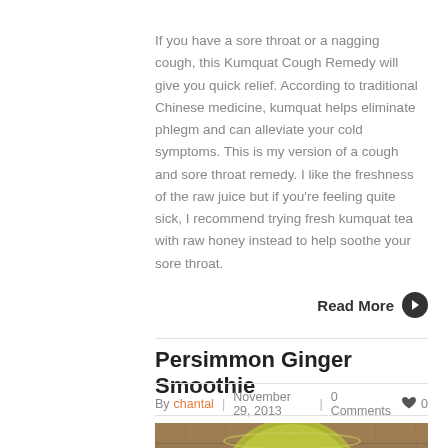If you have a sore throat or a nagging cough, this Kumquat Cough Remedy will give you quick relief. According to traditional Chinese medicine, kumquat helps eliminate phlegm and can alleviate your cold symptoms. This is my version of a cough and sore throat remedy. I like the freshness of the raw juice but if you're feeling quite sick, I recommend trying fresh kumquat tea with raw honey instead to help soothe your sore throat.
Read More ❯
Persimmon Ginger Smoothie
By chantal | November 29, 2013 | 0 Comments ♥ 0
[Figure (photo): Top-down view of a green smoothie in a glass on a wooden surface]